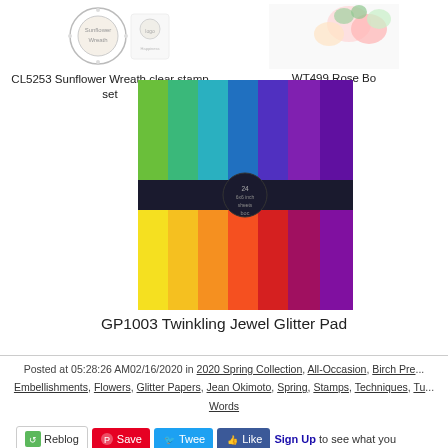[Figure (photo): CL5253 Sunflower Wreath clear stamp set product image (top left, partially visible)]
CL5253 Sunflower Wreath clear stamp set
[Figure (photo): WT499 Rose Bo... product image (top right, partially visible)]
WT499 Rose Bo
[Figure (photo): GP1003 Twinkling Jewel Glitter Pad product image showing rainbow colored glitter pad]
GP1003 Twinkling Jewel Glitter Pad
Posted at 05:28:26 AM02/16/2020 in 2020 Spring Collection, All-Occasion, Birch Pre... Embellishments, Flowers, Glitter Papers, Jean Okimoto, Spring, Stamps, Techniques, Tu... Words
[Figure (other): Social sharing buttons: Reblog, Save (Pinterest), Tweet, Like (Facebook), Sign Up to see what you...]
Comments